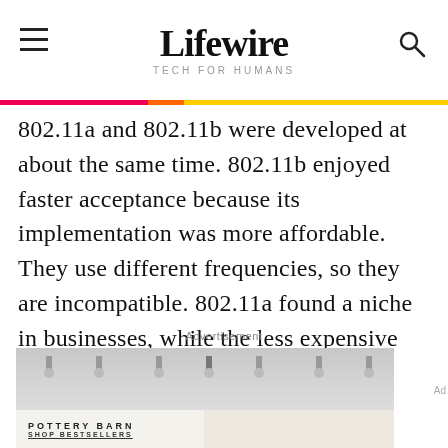Lifewire — TECH FOR HUMANS
802.11a and 802.11b were developed at about the same time. 802.11b enjoyed faster acceptance because its implementation was more affordable. They use different frequencies, so they are incompatible. 802.11a found a niche in businesses, while the less expensive 802.11b became standard in homes.
[Figure (screenshot): Advertisement banner showing Pottery Barn storefront and sofa image with text POTTERY BARN SHOP BESTSELLERS]